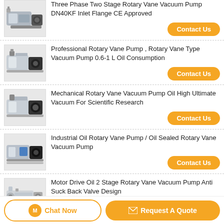[Figure (photo): Rotary vane vacuum pump product image - two stage pump with DN40KF inlet flange]
Three Phase Two Stage Rotary Vane Vacuum Pump DN40KF Inlet Flange CE Approved
Contact Us
[Figure (photo): Professional rotary vane pump product image]
Professional Rotary Vane Pump , Rotary Vane Type Vacuum Pump 0.6-1 L Oil Consumption
Contact Us
[Figure (photo): Mechanical rotary vane vacuum pump product image]
Mechanical Rotary Vane Vacuum Pump Oil High Ultimate Vacuum For Scientific Research
Contact Us
[Figure (photo): Industrial oil rotary vane pump product image]
Industrial Oil Rotary Vane Pump / Oil Sealed Rotary Vane Vacuum Pump
Contact Us
[Figure (photo): Motor drive oil 2 stage rotary vane vacuum pump product image]
Motor Drive Oil 2 Stage Rotary Vane Vacuum Pump Anti Suck Back Valve Design
Contact Us
Chat Now   Request A Quote